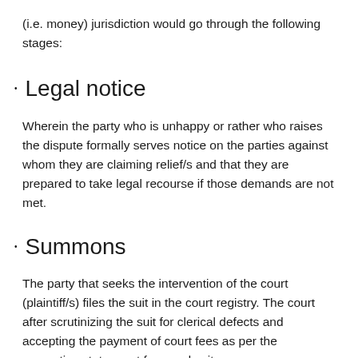(i.e. money) jurisdiction would go through the following stages:
Legal notice
Wherein the party who is unhappy or rather who raises the dispute formally serves notice on the parties against whom they are claiming relief/s and that they are prepared to take legal recourse if those demands are not met.
Summons
The party that seeks the intervention of the court (plaintiff/s) files the suit in the court registry. The court after scrutinizing the suit for clerical defects and accepting the payment of court fees as per the respective state court fees and suits